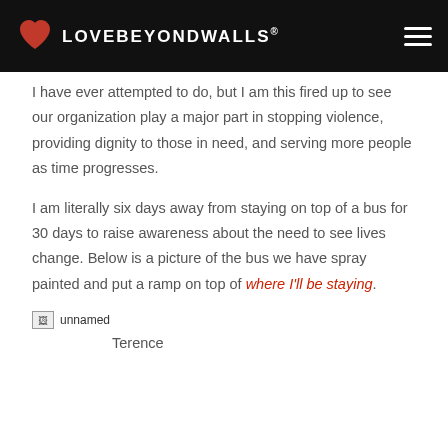LOVEBEYONDWALLS®
I have ever attempted to do, but I am this fired up to see our organization play a major part in stopping violence, providing dignity to those in need, and serving more people as time progresses.
I am literally six days away from staying on top of a bus for 30 days to raise awareness about the need to see lives change. Below is a picture of the bus we have spray painted and put a ramp on top of where I'll be staying.
[Figure (photo): Broken/missing image placeholder labeled 'unnamed']
Terence